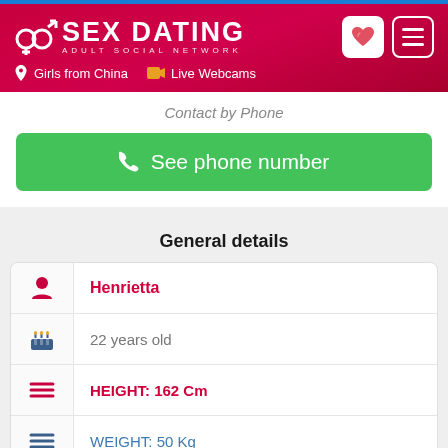SEX DATING ADULT SOCIAL NETWORK | Girls from China | Live Webcams
Contact by Phone
See phone number
General details
| Icon | Value |
| --- | --- |
| person | Henrietta |
| birthday | 22 years old |
| list | HEIGHT: 162 Cm |
| list | WEIGHT: 50 Kg |
| location | Linhai |
| heart | China |